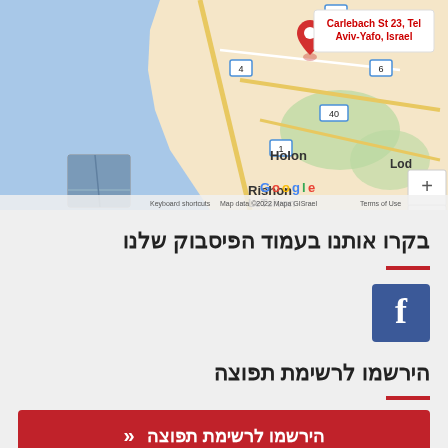[Figure (map): Google Maps screenshot showing Carlebach St 23, Tel Aviv-Yafo, Israel with a red pin marker. The map shows the Tel Aviv coastal area including Holon, Rishon LeTsivon, and Lod. Map data ©2022 Mapa GISrael. Zoom controls visible on right side.]
בקרו אותנו בעמוד הפיסבוק שלנו
[Figure (logo): Facebook logo icon - white 'f' on blue square background]
הירשמו לרשימת תפוצה
הירשמו לרשימת תפוצה «